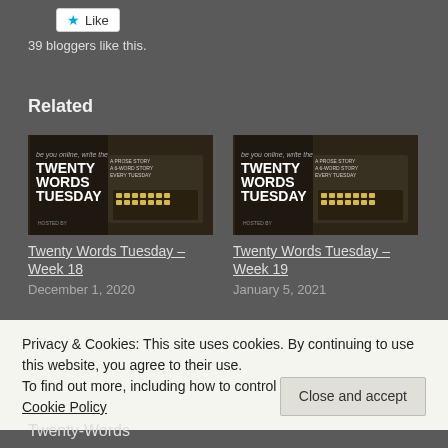[Figure (other): Like button with star icon]
39 bloggers like this.
Related
[Figure (photo): Twenty Words Tuesday blog post thumbnail - typewriter image, Week 18]
Twenty Words Tuesday – Week 18
December 1, 2020
[Figure (photo): Twenty Words Tuesday blog post thumbnail - typewriter image, Week 19]
Twenty Words Tuesday – Week 19
January 5, 2021
Privacy & Cookies: This site uses cookies. By continuing to use this website, you agree to their use.
To find out more, including how to control cookies, see here: Cookie Policy
Close and accept
Twenty-Words